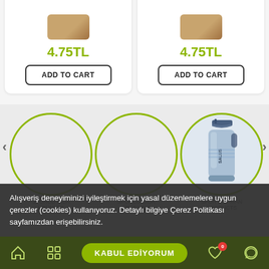4.75TL
ADD TO CART
4.75TL
ADD TO CART
[Figure (screenshot): Two product cards each showing price 4.75TL and ADD TO CART button]
[Figure (screenshot): Category carousel with three circular outlines; third circle shows a sports water bottle product image]
Alışveriş deneyiminizi iyileştirmek için yasal düzenlemelere uygun çerezler (cookies) kullanıyoruz. Detaylı bilgiye Çerez Politikası sayfamızdan erişebilirsiniz.
KABUL EDİYORUM
Bottom navigation bar with home, grid, accept, heart (0), and chat icons